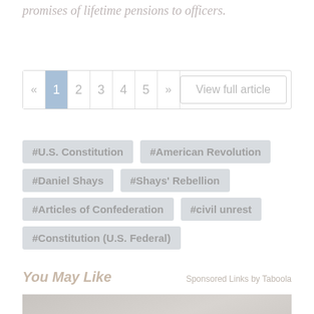promises of lifetime pensions to officers.
« 1 2 3 4 5 » View full article
#U.S. Constitution
#American Revolution
#Daniel Shays
#Shays' Rebellion
#Articles of Confederation
#civil unrest
#Constitution (U.S. Federal)
You May Like
Sponsored Links by Taboola
[Figure (photo): Man with white beard in a gym setting surrounded by exercise equipment and other people]